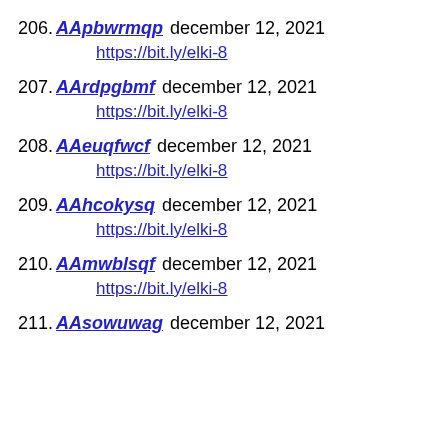206. AApbwrmqp december 12, 2021
    https://bit.ly/elki-8
207. AArdpgbmf december 12, 2021
    https://bit.ly/elki-8
208. AAeuqfwcf december 12, 2021
    https://bit.ly/elki-8
209. AAhcokysq december 12, 2021
    https://bit.ly/elki-8
210. AAmwblsqf december 12, 2021
    https://bit.ly/elki-8
211. AAsowuwag december 12, 2021